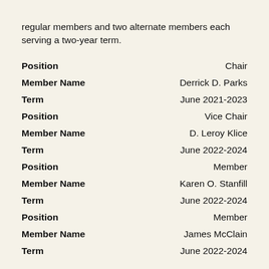regular members and two alternate members each serving a two-year term.
Position: Chair
Member Name: Derrick D. Parks
Term: June 2021-2023
Position: Vice Chair
Member Name: D. Leroy Klice
Term: June 2022-2024
Position: Member
Member Name: Karen O. Stanfill
Term: June 2022-2024
Position: Member
Member Name: James McClain
Term: June 2022-2024